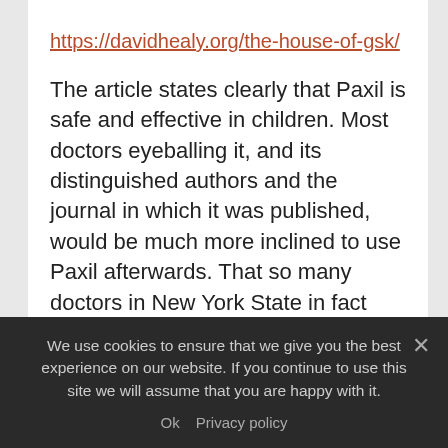https://davidhealy.org/the-house-of-gsk/
The article states clearly that Paxil is safe and effective in children. Most doctors eyeballing it, and its distinguished authors and the journal in which it was published, would be much more inclined to use Paxil afterwards. That so many doctors in New York State in fact went on to prescribe so much Paxil to children led New York State to take a fraud action against GSK in 2004. This study was later at the center of the US Department of Justice's case against GSK that
We use cookies to ensure that we give you the best experience on our website. If you continue to use this site we will assume that you are happy with it. Ok Privacy policy